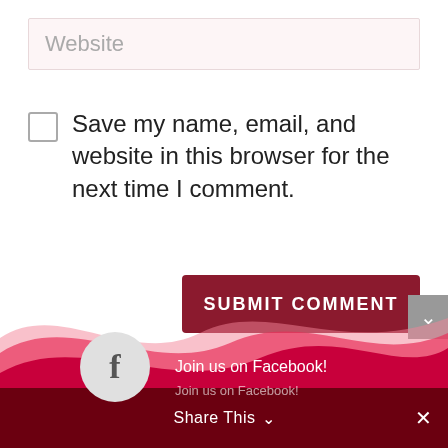Website
Save my name, email, and website in this browser for the next time I comment.
SUBMIT COMMENT
[Figure (infographic): Wave decorative footer with pink and crimson wave shapes]
Join us on Facebook! Share This ∨ ✕